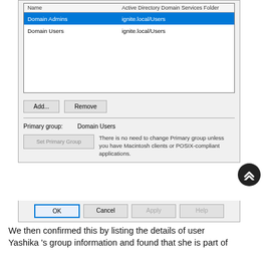[Figure (screenshot): Windows dialog box showing group membership table with 'Domain Admins' row selected (highlighted blue) with 'ignite.local/Users', and 'Domain Users' row with 'ignite.local/Users'. Buttons: Add..., Remove. Primary group: Domain Users. Set Primary Group button with descriptive text. OK, Cancel, Apply, Help buttons at bottom.]
We then confirmed this by listing the details of user Yashika 's group information and found that she is part of